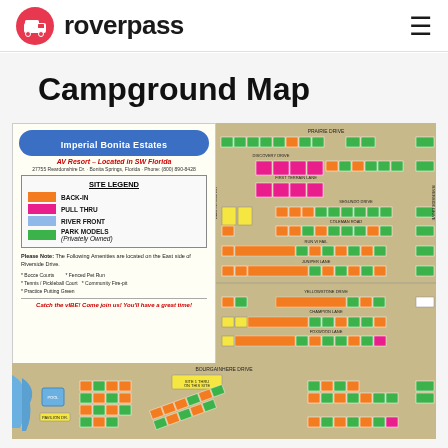[Figure (logo): RoverPass logo - red circle with RV icon, next to bold text 'roverpass']
roverpass
Campground Map
[Figure (map): Imperial Bonita Estates AV Resort campground map showing site layout with color-coded sites: orange for Back-In, pink for Pull Thru, blue for River Front, green for Park Models. Legend on left panel, map on right. Bottom portion shows lower campground area with river.]